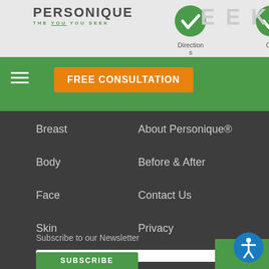[Figure (screenshot): Personique website header with logo, Directions and Call icons, green navigation bar with hamburger menu, FREE CONSULTATION orange button, and Google+ icon]
Breast
About Personique®
Body
Before & After
Face
Contact Us
Skin
Privacy
Subscribe to our Newsletter
Your Email*
SUBSCRIBE